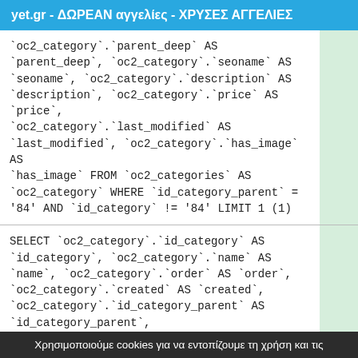yet.gr - ΔΩΡΕΑΝ αγγελίες - ΧΡΥΣΕΣ ΑΓΓΕΛΙΕΣ
`oc2_category`.`parent_deep` AS `parent_deep`, `oc2_category`.`seoname` AS `seoname`, `oc2_category`.`description` AS `description`, `oc2_category`.`price` AS `price`, `oc2_category`.`last_modified` AS `last_modified`, `oc2_category`.`has_image` AS `has_image` FROM `oc2_categories` AS `oc2_category` WHERE `id_category_parent` = '84' AND `id_category` != '84' LIMIT 1 (1)
SELECT `oc2_category`.`id_category` AS `id_category`, `oc2_category`.`name` AS `name`, `oc2_category`.`order` AS `order`, `oc2_category`.`created` AS `created`, `oc2_category`.`id_category_parent` AS `id_category_parent`, `oc2_category`.`parent_deep` AS
Χρησιμοποιούμε cookies για να εντοπίζουμε τη χρήση και τις